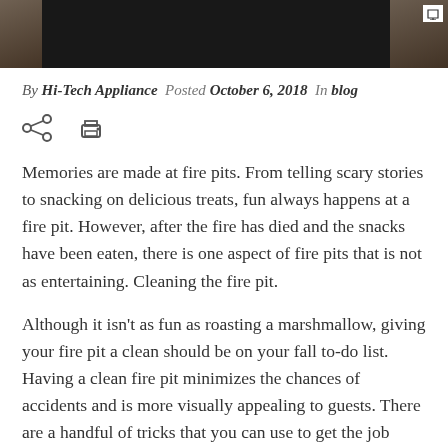[Figure (photo): Top portion of a photo showing what appears to be a fire pit or outdoor scene, dark tones with stone/brick visible on sides]
By Hi-Tech Appliance  Posted October 6, 2018  In blog
[Figure (other): Share icon (less-than symbol style) and print icon]
Memories are made at fire pits. From telling scary stories to snacking on delicious treats, fun always happens at a fire pit. However, after the fire has died and the snacks have been eaten, there is one aspect of fire pits that is not as entertaining. Cleaning the fire pit.
Although it isn't as fun as roasting a marshmallow, giving your fire pit a clean should be on your fall to-do list. Having a clean fire pit minimizes the chances of accidents and is more visually appealing to guests. There are a handful of tricks that you can use to get the job done quicker.